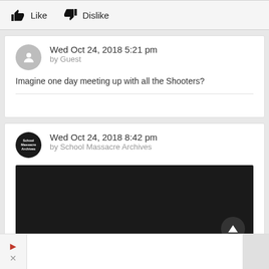Like   Dislike
Wed Oct 24, 2018 5:21 pm
by Guest
Imagine one day meeting up with all the Shooters?
Wed Oct 24, 2018 8:42 pm
by School Massacre Archives
[Figure (screenshot): Dark video thumbnail with a circular scroll-up control button in bottom right]